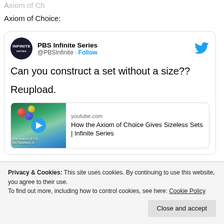Axiom of Choice:
[Figure (screenshot): Embedded tweet from PBS Infinite Series (@PBSInfinite) with Twitter bird logo. Tweet text: 'Can you construct a set without a size?? Reupload.' Includes a YouTube embed showing 'How the Axiom of Choice Gives Sizeless Sets | Infinite Series' from youtube.com with a video thumbnail showing colored spheres.]
Privacy & Cookies: This site uses cookies. By continuing to use this website, you agree to their use. To find out more, including how to control cookies, see here: Cookie Policy
Close and accept